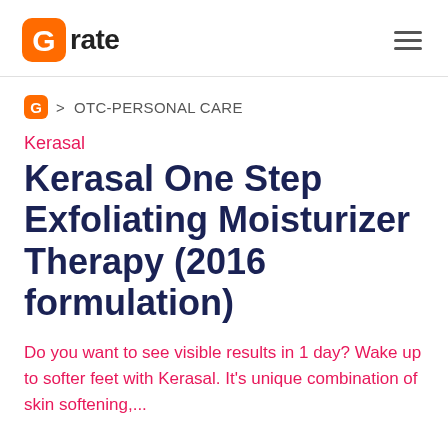Grate
OTC-PERSONAL CARE
Kerasal
Kerasal One Step Exfoliating Moisturizer Therapy (2016 formulation)
Do you want to see visible results in 1 day? Wake up to softer feet with Kerasal. It's unique combination of skin softening,...